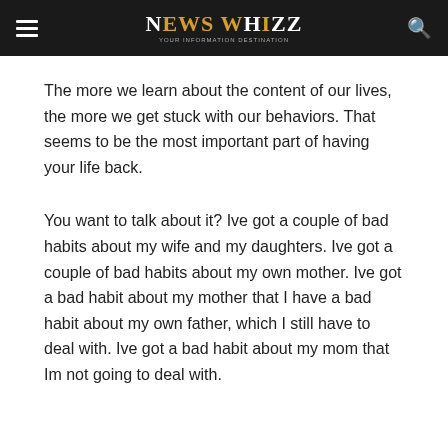NEWS WHIZZ
The more we learn about the content of our lives, the more we get stuck with our behaviors. That seems to be the most important part of having your life back.
You want to talk about it? Ive got a couple of bad habits about my wife and my daughters. Ive got a couple of bad habits about my own mother. Ive got a bad habit about my mother that I have a bad habit about my own father, which I still have to deal with. Ive got a bad habit about my mom that Im not going to deal with.